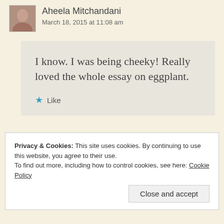[Figure (photo): Avatar/profile photo of Aheela Mitchandani, a woman]
Aheela Mitchandani
March 18, 2015 at 11:08 am
I know. I was being cheeky! Really loved the whole essay on eggplant.
★ Like
Privacy & Cookies: This site uses cookies. By continuing to use this website, you agree to their use.
To find out more, including how to control cookies, see here: Cookie Policy
Close and accept